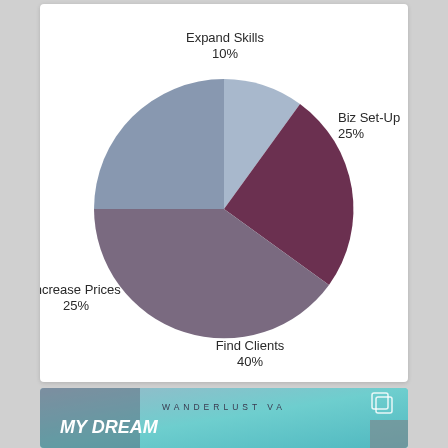[Figure (pie-chart): ]
[Figure (photo): Wanderlust VA promotional image with teal/blue gradient background, text 'WANDERLUST VA' and 'MY DREAM LIFE WAS' with a person wearing a unicorn headband]